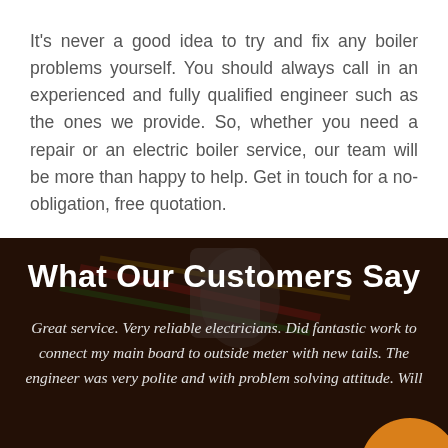It's never a good idea to try and fix any boiler problems yourself. You should always call in an experienced and fully qualified engineer such as the ones we provide. So, whether you need a repair or an electric boiler service, our team will be more than happy to help. Get in touch for a no-obligation, free quotation.
[Figure (photo): Dark background photo of hands working with electrical wires and pliers/wire cutters, with a dark brown overlay. Contains the section heading 'What Our Customers Say' and a customer review quote in italic white text. An orange circle element is partially visible in the bottom right.]
What Our Customers Say
Great service. Very reliable electricians. Did fantastic work to connect my main board to outside meter with new tails. The engineer was very polite and with problem solving attitude. Will